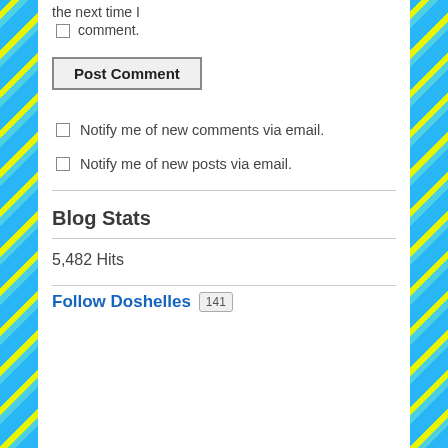the next time I comment.
Post Comment
Notify me of new comments via email.
Notify me of new posts via email.
Blog Stats
5,482 Hits
Follow Doshelles 141